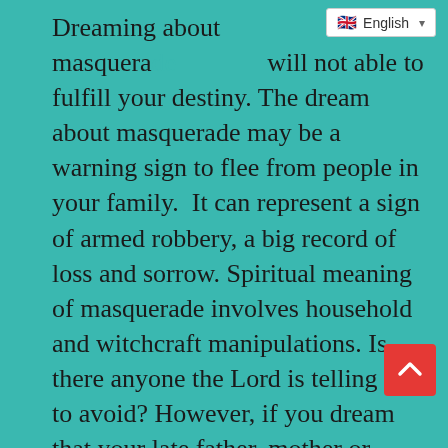[Figure (screenshot): Language selector UI element showing UK flag and 'English' label with dropdown arrow]
Dreaming about masquerade... will not able to fulfill your destiny. The dream about masquerade may be a warning sign to flee from people in your family. It can represent a sign of armed robbery, a big record of loss and sorrow. Spiritual meaning of masquerade involves household and witchcraft manipulations. Is there anyone the Lord is telling you to avoid? However, if you dream that your late father, mother or relatives is chasing you, it means that you will not live long, being received with the attack of sickness and poverty.

This dream can also symbolize inability to up in your family. If they are stubborn